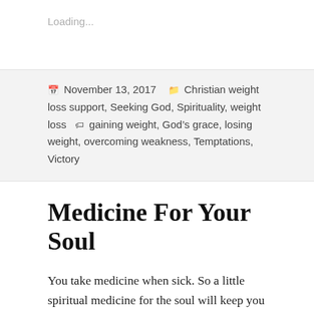Loading...
November 13, 2017  Christian weight loss support, Seeking God, Spirituality, weight loss  gaining weight, God's grace, losing weight, overcoming weakness, Temptations, Victory
Medicine For Your Soul
You take medicine when sick. So a little spiritual medicine for the soul will keep you strong. Tomorrow, you can take these as needed. You may print them and then place these spiritual medicines on the front of your refrigerator.  As soon as you're tempted to overeat, use these spiritual